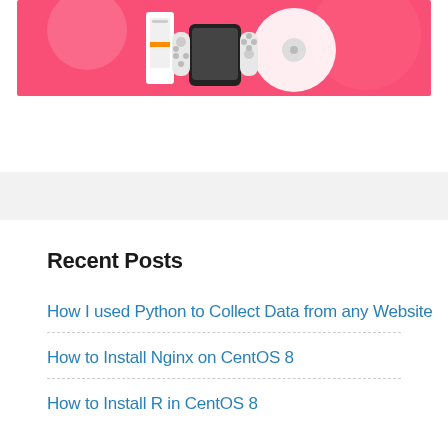[Figure (illustration): Banner image with pink background showing gaming/tech devices including a Nintendo Switch console with Joy-Cons, a disc, and other electronics against a bright pink/coral background with circular blobs.]
Recent Posts
How I used Python to Collect Data from any Website
How to Install Nginx on CentOS 8
How to Install R in CentOS 8